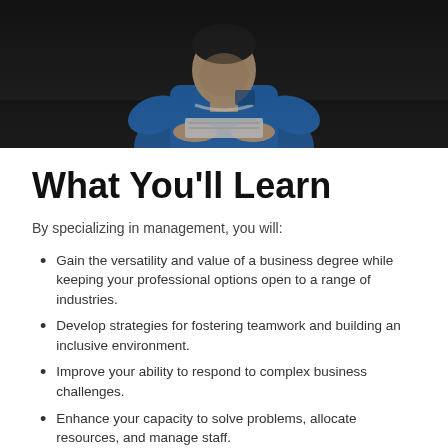[Figure (photo): A person wearing a blue jacket holding papers, photographed against a dark background]
What You'll Learn
By specializing in management, you will:
Gain the versatility and value of a business degree while keeping your professional options open to a range of industries.
Develop strategies for fostering teamwork and building an inclusive environment.
Improve your ability to respond to complex business challenges.
Enhance your capacity to solve problems, allocate resources, and manage staff.
Explore specialized human-resource and operations-management courses that connect